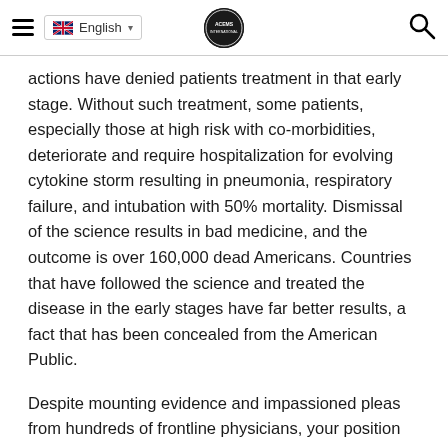English [dropdown] [logo] [search]
actions have denied patients treatment in that early stage. Without such treatment, some patients, especially those at high risk with co-morbidities, deteriorate and require hospitalization for evolving cytokine storm resulting in pneumonia, respiratory failure, and intubation with 50% mortality. Dismissal of the science results in bad medicine, and the outcome is over 160,000 dead Americans. Countries that have followed the science and treated the disease in the early stages have far better results, a fact that has been concealed from the American Public.
Despite mounting evidence and impassioned pleas from hundreds of frontline physicians, your position was and continues to be that randomized controlled trials (RCTs)